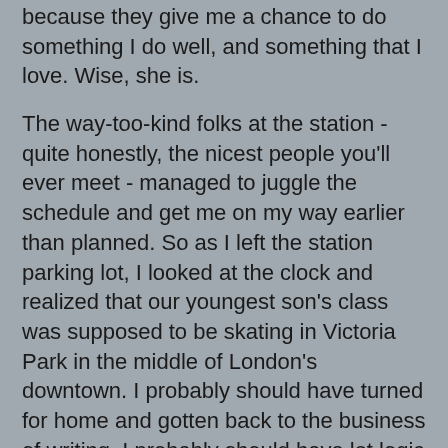because they give me a chance to do something I do well, and something that I love. Wise, she is.
The way-too-kind folks at the station - quite honestly, the nicest people you'll ever meet - managed to juggle the schedule and get me on my way earlier than planned. So as I left the station parking lot, I looked at the clock and realized that our youngest son's class was supposed to be skating in Victoria Park in the middle of London's downtown. I probably should have turned for home and gotten back to the business of writing. I probably should have let logic lead. But I didn't. I set the GPS for the park and didn't look back.
Little man was elated when he realized his dad was walking toward him. He was lying in a snowbank beside the rink, covered in snow, smiling from ear to ear. I hugged his wiggling form before he headed back out to the ice with his classmates and teacher, and I settled in to shep naches (Yiddish, loosely translated as deriving great pleasure from) and watch them frolic. I took pictures. I smiled, probably for the first time in days.
I am on my way to visit the Fraser and his brother